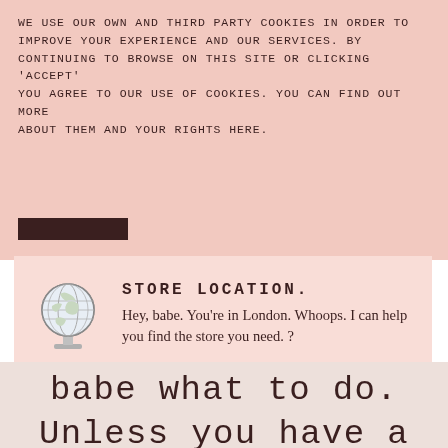WE USE OUR OWN AND THIRD PARTY COOKIES IN ORDER TO IMPROVE YOUR EXPERIENCE AND OUR SERVICES. BY CONTINUING TO BROWSE ON THIS SITE OR CLICKING 'ACCEPT' YOU AGREE TO OUR USE OF COOKIES. YOU CAN FIND OUT MORE ABOUT THEM AND YOUR RIGHTS HERE.
STORE LOCATION.
Hey, babe. You're in London. Whoops. I can help you find the store you need. ?
STAY AT THE UK STORE
GO TO THE US STORE
babe what to do.
Unless you have a